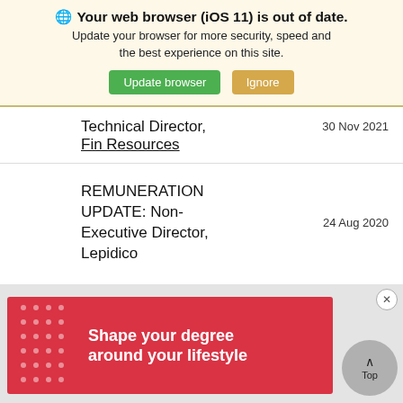🌐 Your web browser (iOS 11) is out of date. Update your browser for more security, speed and the best experience on this site.
Update browser | Ignore
Technical Director, Fin Resources    30 Nov 2021
REMUNERATION UPDATE: Non-Executive Director, Lepidico    24 Aug 2020
[Figure (screenshot): Advertisement banner: red background with white dots pattern on left side and text 'Shape your degree around your lifestyle' in white bold font. Close button (x) top right. 'Top' scroll button bottom right.]